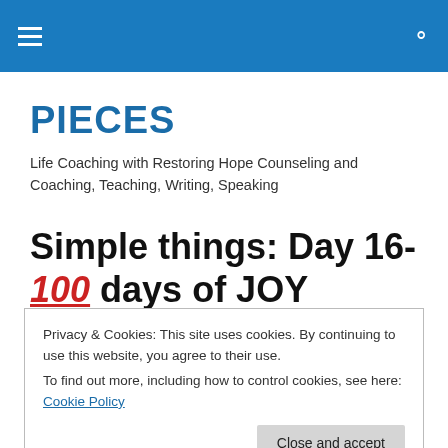≡  🔍
PIECES
Life Coaching with Restoring Hope Counseling and Coaching, Teaching, Writing, Speaking
Simple things: Day 16-💯 days of JOY
Privacy & Cookies: This site uses cookies. By continuing to use this website, you agree to their use.
To find out more, including how to control cookies, see here: Cookie Policy
[Close and accept]